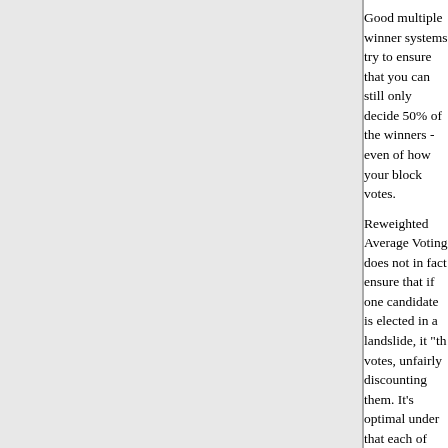Good multiple winner systems try to ensure that you can still only decide 50% of the winners - even of how your block votes.
Reweighted Average Voting does not in fact ensure that if one candidate is elected in a landslide, it "th votes, unfairly discounting them. It's optimal under that each of your picks is only barely successful easier to pull of for someone with a bloc at their d
You can do better by using one of the STV versions Ireland or Australia. But as any Australian can tell involved in setting up the ballots. The best would Transferable Vote version like Schulze's.
Posted by: Harald K | April 28, 2015 at 03:45 AM
President Obama does have one obvious connection both were accused of being secretly Muslim by people notion of Islam (I have little doubt that if you drew and marked a room as the location where the Obama of Muhammad, a substantial part of the Republicans and hit FORWARD).
Posted by: John M. Burt | April 30, 2015 at 11:30 AM